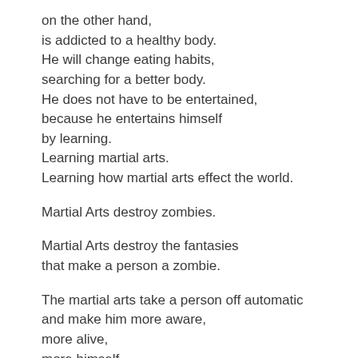on the other hand,
is addicted to a healthy body.
He will change eating habits,
searching for a better body.
He does not have to be entertained,
because he entertains himself
by learning.
Learning martial arts.
Learning how martial arts effect the world.
Martial Arts destroy zombies.
Martial Arts destroy the fantasies
that make a person a zombie.
The martial arts take a person off automatic
and make him more aware,
more alive,
more himself.